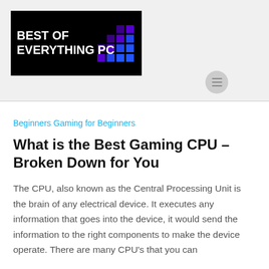[Figure (logo): Best of Everything PC logo — black background with white bold uppercase text and a grid of purple/blue squares on the right side]
Beginners   Gaming for Beginners
What is the Best Gaming CPU – Broken Down for You
The CPU, also known as the Central Processing Unit is the brain of any electrical device. It executes any information that goes into the device, it would send the information to the right components to make the device operate. There are many CPU's that you can